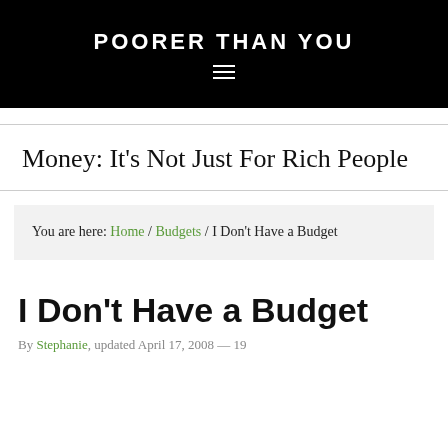POORER THAN YOU
Money: It's Not Just For Rich People
You are here: Home / Budgets / I Don't Have a Budget
I Don't Have a Budget
By Stephanie, updated April 17, 2008 — 19